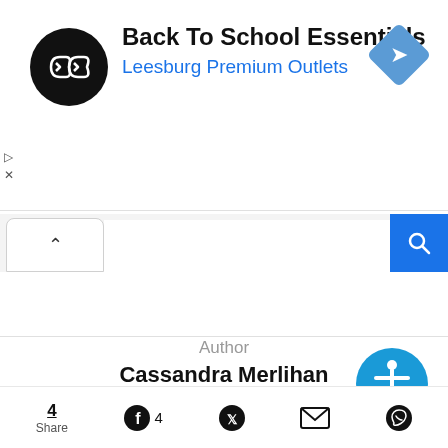[Figure (screenshot): Advertisement banner for Back To School Essentials at Leesburg Premium Outlets, with black circular logo with double arrows, text, and blue diamond navigation icon]
[Figure (screenshot): Search bar UI with collapse tab (chevron up), search input field, and blue search button with magnifying glass icon]
[Figure (screenshot): Blue circular accessibility icon with white person symbol]
Author
Cassandra Merlihan
[Figure (screenshot): Social media icons row: globe, Facebook, Twitter, Instagram, and partial blue circle]
[Figure (screenshot): Share bar at bottom: Share count 4, Facebook (4), Twitter, Email, WhatsApp icons]